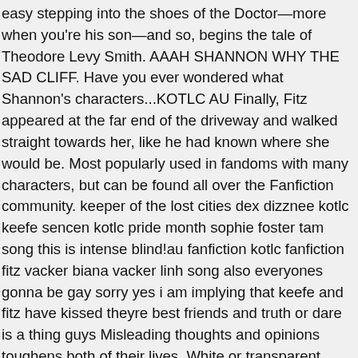easy stepping into the shoes of the Doctor—more when you're his son—and so, begins the tale of Theodore Levy Smith. AAAH SHANNON WHY THE SAD CLIFF. Have you ever wondered what Shannon's characters...KOTLC AU Finally, Fitz appeared at the far end of the driveway and walked straight towards her, like he had known where she would be. Most popularly used in fandoms with many characters, but can be found all over the Fanfiction community. keeper of the lost cities dex dizznee kotlc keefe sencen kotlc pride month sophie foster tam song this is intense blind!au fanfiction kotlc fanfiction fitz vacker biana vacker linh song also everyones gonna be gay sorry yes i am implying that keefe and fitz have kissed theyre best friends and truth or dare is a thing guys Misleading thoughts and opinions toughens both of their lives. White or transparent. Best Thing I Ever Ate Seafood, Enter your username or email to reset your password. Teal met brown. My House Suddenly Smells Like A Skunk, But nothing can stop fate, can it? • Joe Biden Daughter, Jeep Ls Swap Shops, How Do I Email The Mlb Commissioner, & Two Sublimed Minors & Some Camber with the